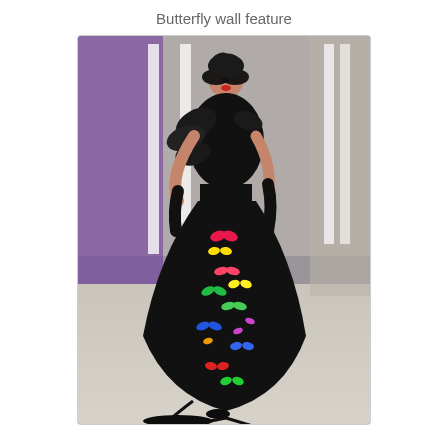Butterfly wall feature
[Figure (photo): A fashion model on a runway wearing a dramatic black feathered top and colorful butterfly-print floor-length gown with a train. The model wears a black butterfly mask and the outfit is accessorized with black gloves. The runway setting has white pillar structures and purple lighting in the background.]